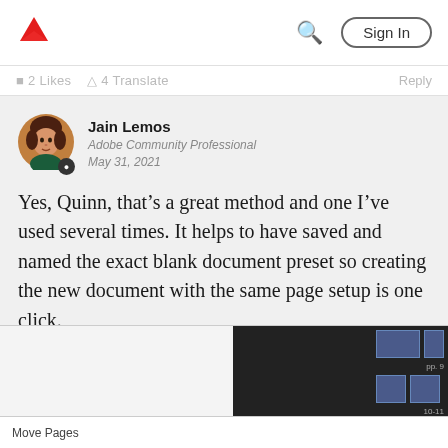Adobe | Sign In
2 Likes  4 Translate  Reply
Jain Lemos
Adobe Community Professional
May 31, 2021
Yes, Quinn, that’s a great method and one I’ve used several times. It helps to have saved and named the exact blank document preset so creating the new document with the same page setup is one click.
[Figure (screenshot): Screenshot of Adobe InDesign showing Move Pages dialog and pages panel with document thumbnails]